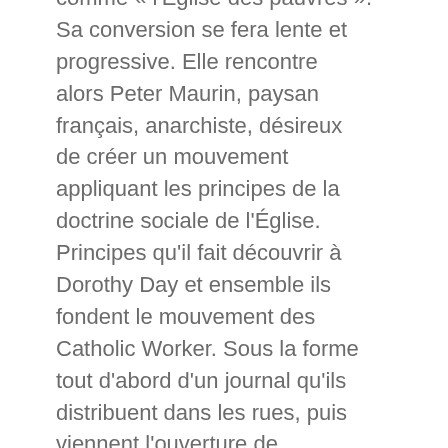comme « l'Église des pauvres ». Sa conversion se fera lente et progressive. Elle rencontre alors Peter Maurin, paysan français, anarchiste, désireux de créer un mouvement appliquant les principes de la doctrine sociale de l'Église. Principes qu'il fait découvrir à Dorothy Day et ensemble ils fondent le mouvement des Catholic Worker. Sous la forme tout d'abord d'un journal qu'ils distribuent dans les rues, puis viennent l'ouverture de maisons d'hospitalité afin